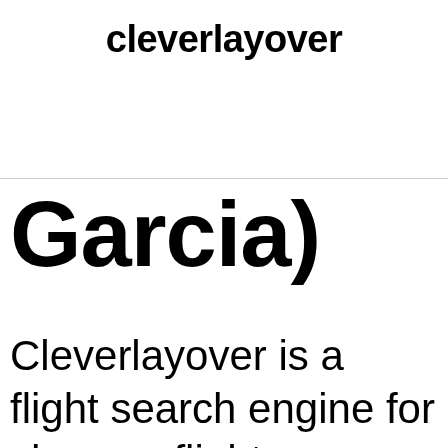cleverlayover
Garcia)
Cleverlayover is a flight search engine for cheaper flights.